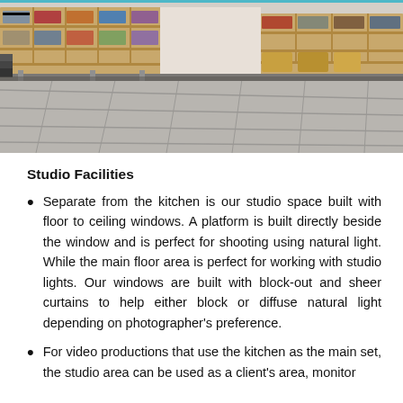[Figure (photo): Interior photo of a studio/storage space with wooden shelving units filled with folded fabrics and materials, and a grey tile floor visible in the foreground. A teal/blue accent line is visible at the top edge.]
Studio Facilities
Separate from the kitchen is our studio space built with floor to ceiling windows. A platform is built directly beside the window and is perfect for shooting using natural light. While the main floor area is perfect for working with studio lights. Our windows are built with block-out and sheer curtains to help either block or diffuse natural light depending on photographer's preference.
For video productions that use the kitchen as the main set, the studio area can be used as a client's area, monitor